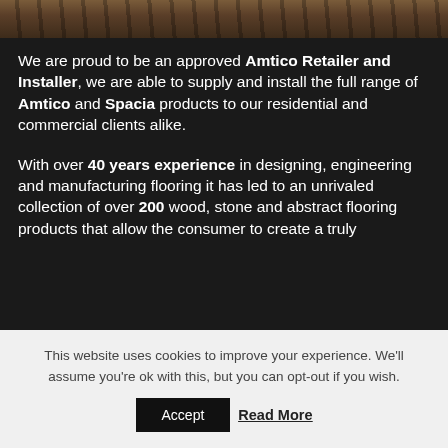[Figure (photo): Partial top view of dark wood flooring planks]
We are proud to be an approved Amtico Retailer and Installer, we are able to supply and install the full range of Amtico and Spacia products to our residential and commercial clients alike.
With over 40 years experience in designing, engineering and manufacturing flooring it has led to an unrivaled collection of over 200 wood, stone and abstract flooring products that allow the consumer to create a truly
This website uses cookies to improve your experience. We'll assume you're ok with this, but you can opt-out if you wish.
Accept   Read More